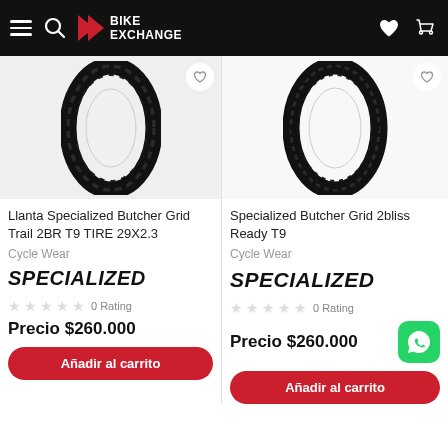BikeExchange - navigation header with menu, search, logo, wishlist, cart
[Figure (photo): Specialized Butcher Grid Trail 2BR T9 TIRE 29X2.3 bicycle tire product image]
Llanta Specialized Butcher Grid Trail 2BR T9 TIRE 29X2.3
Cycle Wear
[Figure (logo): SPECIALIZED brand logo in bold italic black text]
0 Rating
Precio $260.000
Añadir al carrito
[Figure (photo): Specialized Butcher Grid 2bliss Ready T9 bicycle tire product image]
Specialized Butcher Grid 2bliss Ready T9
Cycle Wear
[Figure (logo): SPECIALIZED brand logo in bold italic black text]
0 Rating
Precio $260.000
Añadir al carrito